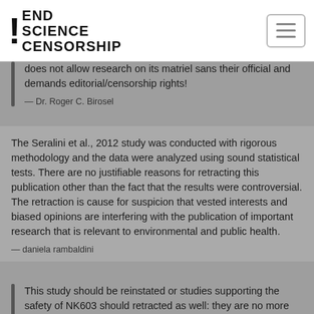END SCIENCE CENSORSHIP
does not allow research on its matriel sans their official and demands editorial/censorship rights!
— Dr. Roger C. Birosel
The Seralini et al., 2012 study was conducted with rigorous methodology and the data were analyzed using sound statistical tests. There are no justifiable reasons for retracting this publication other than the fact that the results were controversial. The retraction is cause for suspicion that vested interests and biased opinions are interfering with the publication of important research that is relevant to environmental and public health.
— daniela rambaldini
This study should be reinstated or studies supporting the safety of NK603 should retracted as well: they are no more conclusive.
— Vincent Detours